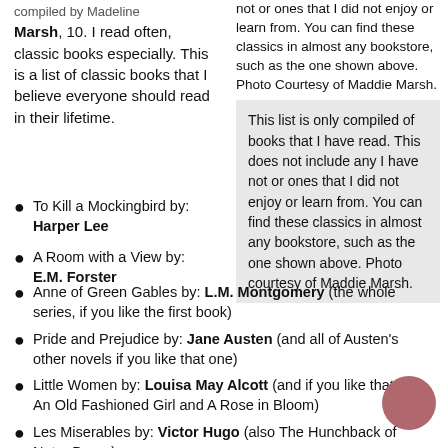compiled by Maddie Marsh, 10. I read often, classic books especially. This is a list of classic books that I believe everyone should read in their lifetime.
not or ones that I did not enjoy or learn from. You can find these classics in almost any bookstore, such as the one shown above. Photo Courtesy of Maddie Marsh.
This list is only compiled of books that I have read. This does not include any I have not or ones that I did not enjoy or learn from. You can find these classics in almost any bookstore, such as the one shown above. Photo courtesy of Maddie Marsh.
To Kill a Mockingbird by: Harper Lee
A Room with a View by: E.M. Forster
Anne of Green Gables by: L.M. Montgomery (the whole series, if you like the first book)
Pride and Prejudice by: Jane Austen (and all of Austen's other novels if you like that one)
Little Women by: Louisa May Alcott (and if you like that, try An Old Fashioned Girl and A Rose in Bloom)
Les Miserables by: Victor Hugo (also The Hunchback of Notre Dame)
The Complete stories of Sherlock Holmes by: Sir Arthur Conan